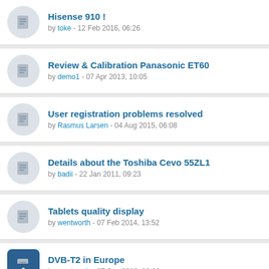Hisense 910! by toke - 12 Feb 2016, 06:26
Review & Calibration Panasonic ET60 by demo1 - 07 Apr 2013, 10:05
User registration problems resolved by Rasmus Larsen - 04 Aug 2015, 06:08
Details about the Toshiba Cevo 55ZL1 by badii - 22 Jan 2011, 09:23
Tablets quality display by wentworth - 07 Feb 2014, 13:52
DVB-T2 in Europe by wentworth - 27 Sep 2012, 00:00